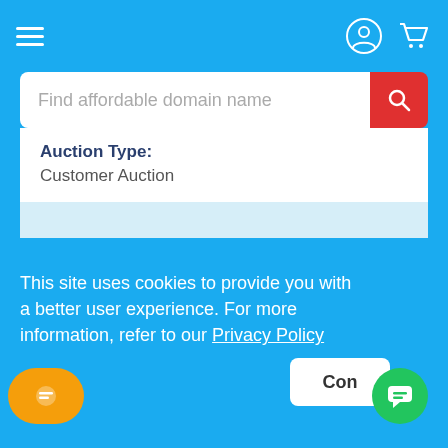Find affordable domain name
Auction Type:
Customer Auction
Registered Since:
10/2/2019
Auction End Date/Time:
9/6/2022, 7:00:00 AM
This site uses cookies to provide you with a better user experience. For more information, refer to our Privacy Policy